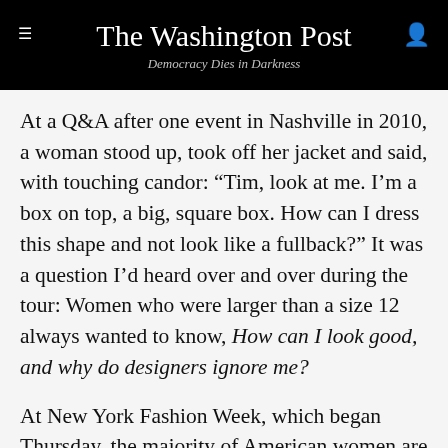The Washington Post
Democracy Dies in Darkness
At a Q&A after one event in Nashville in 2010, a woman stood up, took off her jacket and said, with touching candor: “Tim, look at me. I’m a box on top, a big, square box. How can I dress this shape and not look like a fullback?” It was a question I’d heard over and over during the tour: Women who were larger than a size 12 always wanted to know, How can I look good, and why do designers ignore me?
At New York Fashion Week, which began Thursday, the majority of American women are unlikely to receive much attention. either. Designers keep their